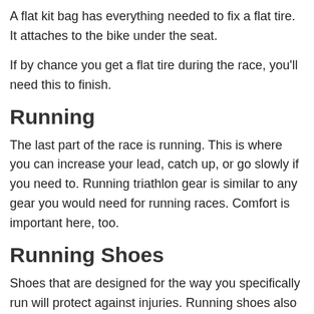A flat kit bag has everything needed to fix a flat tire. It attaches to the bike under the seat.
If by chance you get a flat tire during the race, you'll need this to finish.
Running
The last part of the race is running. This is where you can increase your lead, catch up, or go slowly if you need to. Running triathlon gear is similar to any gear you would need for running races. Comfort is important here, too.
Running Shoes
Shoes that are designed for the way you specifically run will protect against injuries. Running shoes also help runners run more efficiently.